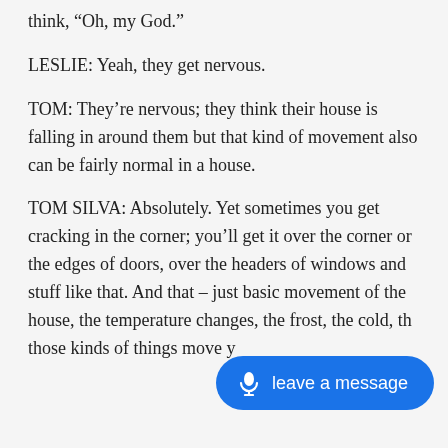think, “Oh, my God.”
LESLIE: Yeah, they get nervous.
TOM: They’re nervous; they think their house is falling in around them but that kind of movement also can be fairly normal in a house.
TOM SILVA: Absolutely. Yet sometimes you get cracking in the corner; you’ll get it over the corner or the edges of doors, over the headers of windows and stuff like that. And that – just basic movement of the house, the temperature changes, the frost, the cold, th… those kinds of things move y…
(partial bottom line cut off)